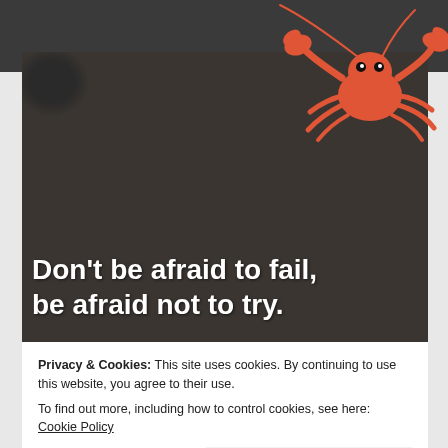[Figure (illustration): Dark header bar with an illustrated cartoon crab in orange/red color on the right side, positioned at the top of the page]
[Figure (photo): Photo of dark blueberries filling the frame with a motivational quote overlaid in white bold text]
Don't be afraid to fail, be afraid not to try.
Privacy & Cookies: This site uses cookies. By continuing to use this website, you agree to their use.
To find out more, including how to control cookies, see here: Cookie Policy
Close and accept